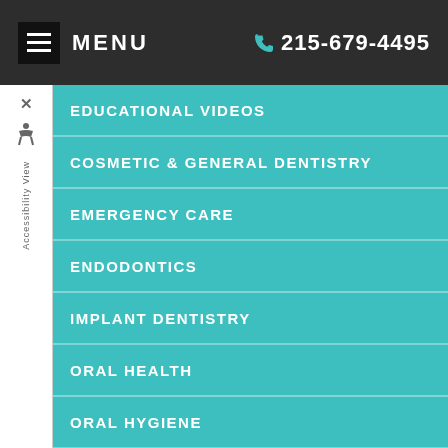MENU  215-679-4495
EDUCATIONAL VIDEOS
COSMETIC & GENERAL DENTISTRY
EMERGENCY CARE
ENDODONTICS
IMPLANT DENTISTRY
ORAL HEALTH
ORAL HYGIENE
ORAL SURGERY